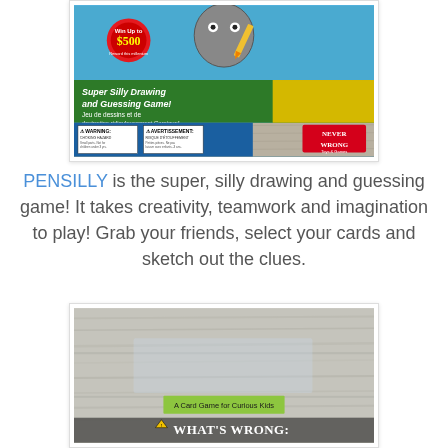[Figure (photo): Close-up of Pensilly board game box showing 'Super Silly Drawing and Guessing Game' / 'Jeu de dessins et de devinettes ridiculeusement Comique!' with $500 prize offer, warning labels, and Never Wrong branding on a blue strip at bottom.]
PENSILLY is the super, silly drawing and guessing game! It takes creativity, teamwork and imagination to play! Grab your friends, select your cards and sketch out the clues.
[Figure (photo): Photo of a card game product on a weathered wood background showing 'A Card Game for Curious Kids' label and 'WHAT'S WRONG:' text at bottom.]